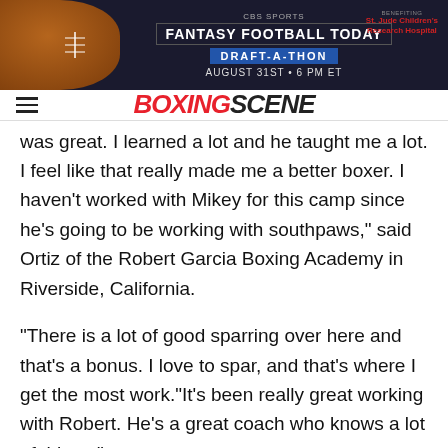[Figure (screenshot): CBS Sports Fantasy Football Today Draft-A-Thon advertisement banner. Dark background with football image on left. Text reads: CBS SPORTS / FANTASY FOOTBALL TODAY / DRAFT-A-THON / AUGUST 31ST • 6 PM ET. St. Jude Children's Research Hospital logo on right.]
BOXINGSCENE
was great. I learned a lot and he taught me a lot. I feel like that really made me a better boxer. I haven't worked with Mikey for this camp since he's going to be working with southpaws," said Ortiz of the Robert Garcia Boxing Academy in Riverside, California.
"There is a lot of good sparring over here and that's a bonus. I love to spar, and that's where I get the most work."It's been really great working with Robert. He's a great coach who knows a lot of things."
Over the course of his past four fights, Ortiz has stopped fighters who had more knockouts he had victories. He is